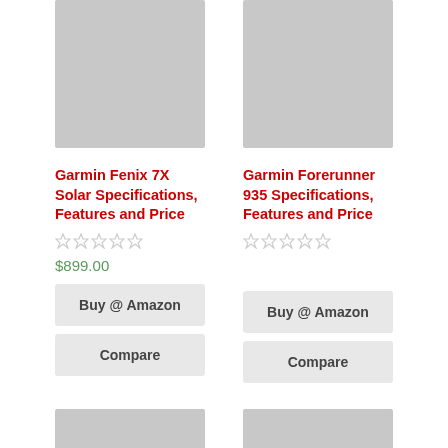[Figure (photo): Product image placeholder (gray rectangle) for Garmin Fenix 7X Solar]
[Figure (photo): Product image placeholder (gray rectangle) for Garmin Forerunner 935]
Garmin Fenix 7X Solar Specifications, Features and Price
Garmin Forerunner 935 Specifications, Features and Price
$899.00
Buy @ Amazon
Compare
Buy @ Amazon
Compare
[Figure (photo): Product image placeholder (gray rectangle) bottom left]
[Figure (photo): Product image placeholder (gray rectangle) bottom right]